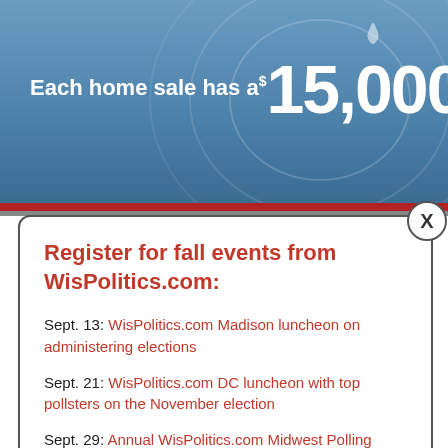[Figure (infographic): Blue banner background with text: Each home sale has a $15,000 ripple effect o]
Register for fall events from WisPolitics.com:
Sept. 13: WisPolitics.com Madison luncheon on administering elections
Sept. 21: WisPolitics.com DC luncheon with top pollsters on the November election
Sept. 29: Annual WisPolitics.com Midwest Polling Summit
Oct. 18: WisPolitics.com Madison luncheon on top legislative races
organization as marketing director. Sherman is an awa winning marketing and communications leader who will direct